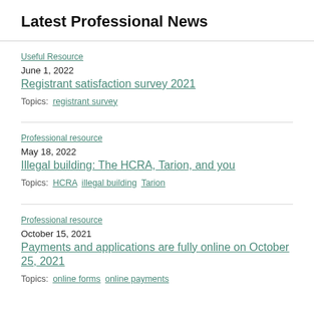Latest Professional News
Useful Resource
June 1, 2022
Registrant satisfaction survey 2021
Topics: registrant survey
Professional resource
May 18, 2022
Illegal building: The HCRA, Tarion, and you
Topics: HCRA illegal building Tarion
Professional resource
October 15, 2021
Payments and applications are fully online on October 25, 2021
Topics: online forms online payments